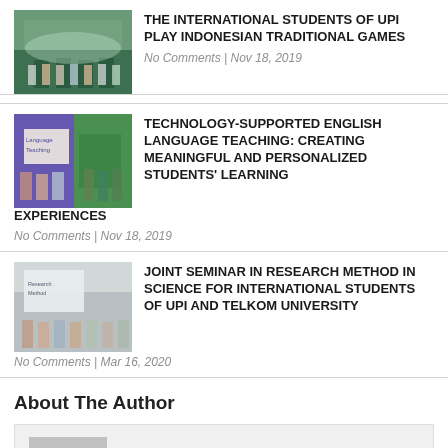[Figure (photo): Group photo of international students outdoors at UPI]
THE INTERNATIONAL STUDENTS OF UPI PLAY INDONESIAN TRADITIONAL GAMES
No Comments | Nov 18, 2019
[Figure (photo): Classroom or seminar scene with people and presentation screen]
TECHNOLOGY-SUPPORTED ENGLISH LANGUAGE TEACHING: CREATING MEANINGFUL AND PERSONALIZED STUDENTS' LEARNING EXPERIENCES
No Comments | Nov 18, 2019
[Figure (photo): Seminar room with presenter and audience]
JOINT SEMINAR IN RESEARCH METHOD IN SCIENCE FOR INTERNATIONAL STUDENTS OF UPI AND TELKOM UNIVERSITY
No Comments | Mar 16, 2020
About The Author
[Figure (photo): Default author avatar placeholder image with circle icon]
Humas UPI